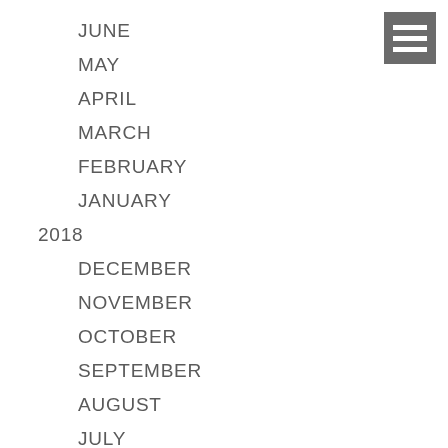JUNE
MAY
APRIL
MARCH
FEBRUARY
JANUARY
2018
DECEMBER
NOVEMBER
OCTOBER
SEPTEMBER
AUGUST
JULY